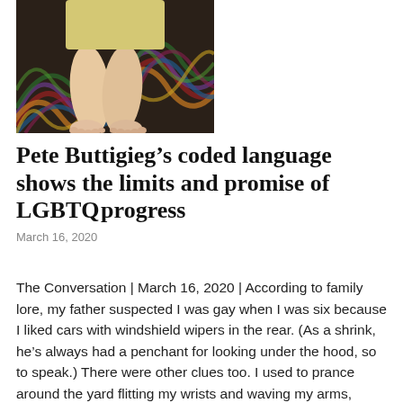[Figure (photo): Photo showing bare feet and legs of a person seated on a colorful patterned fabric/rug with swirling multicolor design]
Pete Buttigieg’s coded language shows the limits and promise of LGBTQ progress
March 16, 2020
The Conversation | March 16, 2020 | According to family lore, my father suspected I was gay when I was six because I liked cars with windshield wipers in the rear. (As a shrink, he’s always had a penchant for looking under the hood, so to speak.) There were other clues too. I used to prance around the yard flitting my wrists and waving my arms, chirping in a high-pitched, affected manner: “I’m a boy!” My father would